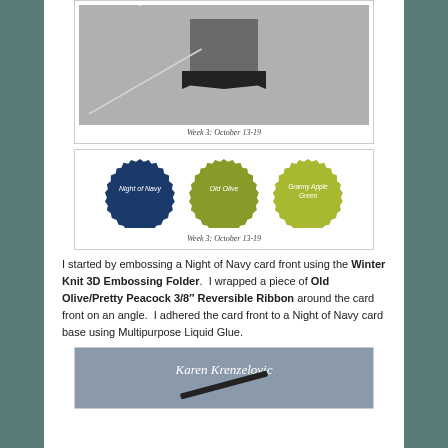[Figure (illustration): Sketch card layout with dark square, banner ribbon, and diagonal lines on gray background. Caption: Week 3: October 13-19]
[Figure (illustration): Three circular badge stamps: Night of Navy (dark blue), Old Olive (olive green), Granny Apple Green (light green). Caption: Week 3: October 13-19]
I started by embossing a Night of Navy card front using the Winter Knit 3D Embossing Folder. I wrapped a piece of Old Olive/Pretty Peacock 3/8" Reversible Ribbon around the card front on an angle. I adhered the card front to a Night of Navy card base using Multipurpose Liquid Glue.
[Figure (photo): Gray photo with cursive text 'Karen Krenzelovic' and a pen/marker visible]